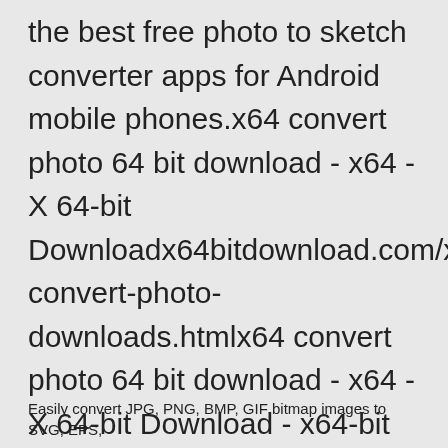the best free photo to sketch converter apps for Android mobile phones.x64 convert photo 64 bit download - x64 - X 64-bit Downloadx64bitdownload.com/x64-convert-photo-downloads.htmlx64 convert photo 64 bit download - x64 - X 64-bit Download - x64-bit download - freeware, shareware and software downloads.
Easily convert JPG, PNG, BMP, GIF bitmap images to SVG, EPS,